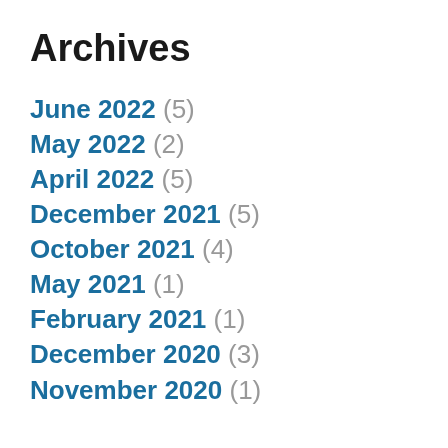Archives
June 2022 (5)
May 2022 (2)
April 2022 (5)
December 2021 (5)
October 2021 (4)
May 2021 (1)
February 2021 (1)
December 2020 (3)
November 2020 (1)